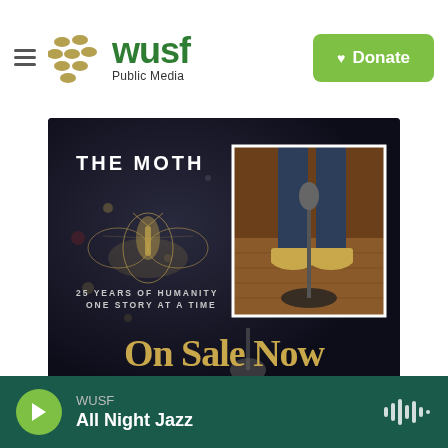WUSF Public Media — Donate
[Figure (illustration): The Moth advertisement: dark background with moth illustration, text '25 YEARS OF HUMANITY ONE STORY AT A TIME', photo of person's feet at microphone stand, and 'On Sale Now' text in gold.]
[Figure (illustration): WUSF's Food Podcast banner advertisement with orange background and bowl of lemons/peppers photo.]
WUSF · All Night Jazz — audio player with play button and waveform icon